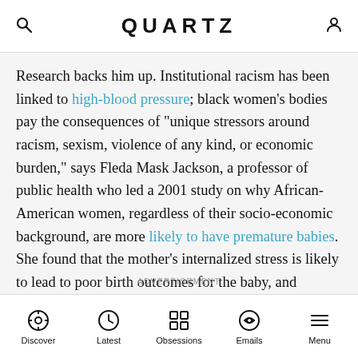QUARTZ
Research backs him up. Institutional racism has been linked to high-blood pressure; black women’s bodies pay the consequences of “unique stressors around racism, sexism, violence of any kind, or economic burden,” says Fleda Mask Jackson, a professor of public health who led a 2001 study on why African-American women, regardless of their socio-economic background, are more likely to have premature babies. She found that the mother’s internalized stress is likely to lead to poor birth outcomes for the baby, and believes it’s not unreasonable to infer that those stressors have consequences for the mothers too.
ADVERTISEMENT
Discover | Latest | Obsessions | Emails | Menu